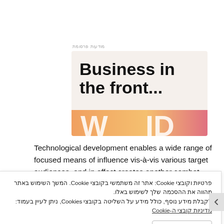מודעות פרסומת
[Figure (screenshot): Ad card with text 'Business in the front...' on a beige background, with an orange-pink gradient banner at the bottom partially showing 'W...ID']
Technological development enables a wide range of focused means of influence vis-à-vis various target audiences, and in effect creates another combat
פרטיות וקובצי Cookie: אתר זה משתמשי בקובצי Cookie. המשך השימוש באתר מהווה את ההסכמה שלך לשימוש באלו.
לקבלת מידע נוסף, כולל מידע על השליטה בקובצי Cookies, ניתן לעיין בעמוד: מדיניות קובצי ה-Cookie
להסכים ולסגור